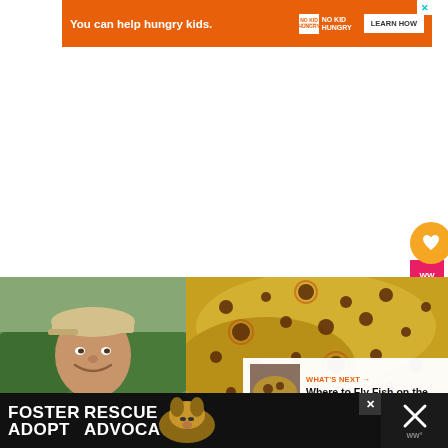[Figure (other): Orange advertisement banner: 'You can help hungry kids.' with No Kid Hungry logo and LEARN HOW button]
[Figure (other): White blank content area]
[Figure (other): Heart/favorite button (gold circle with heart icon), pink bar with logo, count 2, and share button]
[Figure (photo): Photo of a smiling man wearing a cap outdoors near a river with green vegetation]
[Figure (photo): Close-up photo of spotted brown trout fish scales/body, golden-yellow with dark spots]
WHAT'S NEXT → Where to Fly Fish on the...
[Figure (other): Black bottom advertisement banner: FOSTER / ADOPT with dog image and RESCUE / ADVOCATE text, with close button]